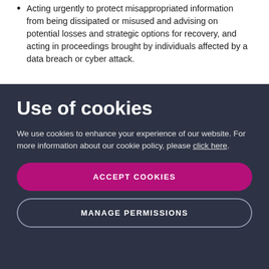Acting urgently to protect misappropriated information from being dissipated or misused and advising on potential losses and strategic options for recovery, and acting in proceedings brought by individuals affected by a data breach or cyber attack.
Use of cookies
We use cookies to enhance your experience of our website. For more information about our cookie policy, please click here.
ACCEPT COOKIES
MANAGE PERMISSIONS